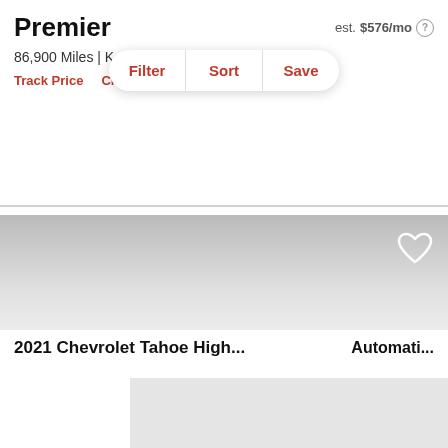Premier
est. $576/mo
86,900 Miles | K
Filter  Sort  Save
Track Price   Check Availability
[Figure (photo): Car listing image area with gradient background and heart/save icon]
2021 Chevrolet Tahoe High...
Automati...